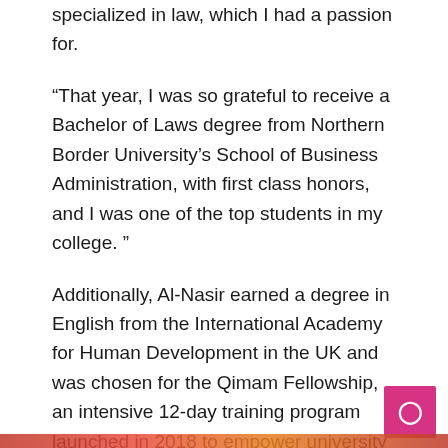specialized in law, which I had a passion for.
“That year, I was so grateful to receive a Bachelor of Laws degree from Northern Border University’s School of Business Administration, with first class honors, and I was one of the top students in my college. ”
Additionally, Al-Nasir earned a degree in English from the International Academy for Human Development in the UK and was chosen for the Qimam Fellowship, an intensive 12-day training program launched in 2018 to empower university students. with high potential in Saudi Arabia through one-on-one mentoring and career guidance.